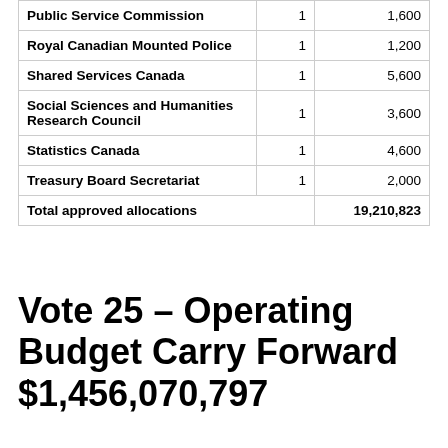|  |  |  |
| --- | --- | --- |
| Public Service Commission | 1 | 1,600 |
| Royal Canadian Mounted Police | 1 | 1,200 |
| Shared Services Canada | 1 | 5,600 |
| Social Sciences and Humanities Research Council | 1 | 3,600 |
| Statistics Canada | 1 | 4,600 |
| Treasury Board Secretariat | 1 | 2,000 |
| Total approved allocations |  | 19,210,823 |
Vote 25 – Operating Budget Carry Forward $1,456,070,797